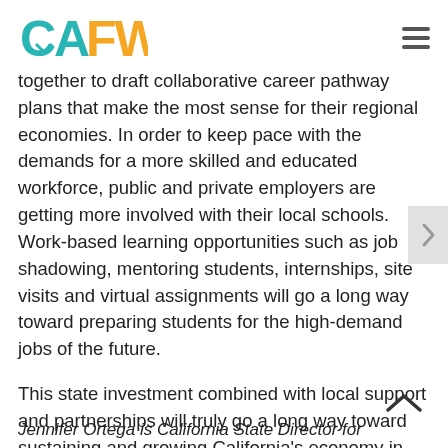CAFWD
together to draft collaborative career pathway plans that make the most sense for their regional economies. In order to keep pace with the demands for a more skilled and educated workforce, public and private employers are getting more involved with their local schools. Work-based learning opportunities such as job shadowing, mentoring students, internships, site visits and virtual assignments will go a long way toward preparing students for the high-demand jobs of the future.
This state investment combined with local support and partnerships will truly go a long way toward sustaining and growing California's economy in the long run.
Jennifer Ortega is California State Director for